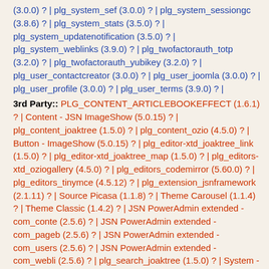(3.0.0) ? | plg_system_sef (3.0.0) ? | plg_system_sessiongc (3.8.6) ? | plg_system_stats (3.5.0) ? | plg_system_updatenotification (3.5.0) ? | plg_system_weblinks (3.9.0) ? | plg_twofactorauth_totp (3.2.0) ? | plg_twofactorauth_yubikey (3.2.0) ? | plg_user_contactcreator (3.0.0) ? | plg_user_joomla (3.0.0) ? | plg_user_profile (3.0.0) ? | plg_user_terms (3.9.0) ? |
3rd Party:: PLG_CONTENT_ARTICLEBOOKEFFECT (1.6.1) ? | Content - JSN ImageShow (5.0.15) ? | plg_content_joaktree (1.5.0) ? | plg_content_ozio (4.5.0) ? | Button - ImageShow (5.0.15) ? | plg_editor-xtd_joaktree_link (1.5.0) ? | plg_editor-xtd_joaktree_map (1.5.0) ? | plg_editors-xtd_oziogallery (4.5.0) ? | plg_editors_codemirror (5.60.0) ? | plg_editors_tinymce (4.5.12) ? | plg_extension_jsnframework (2.1.11) ? | Source Picasa (1.1.8) ? | Theme Carousel (1.1.4) ? | Theme Classic (1.4.2) ? | JSN PowerAdmin extended - com_conte (2.5.6) ? | JSN PowerAdmin extended - com_pageb (2.5.6) ? | JSN PowerAdmin extended - com_users (2.5.6) ? | JSN PowerAdmin extended - com_webli (2.5.6) ? | plg_search_joaktree (1.5.0) ? | System - JSN ImageShow (5.0.15) ? | plg_extension_jsnframework (2.1.11) ? | plg_system_jsnframework (2.1.11) ? | System - JSN